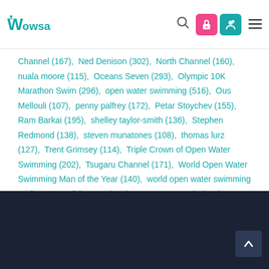WOWSA navigation header with logo, search, and menu icons
Channel (167), Ned Denison (302), North Channel (160), nuala moore (115), Oceans Seven (293), Olympic 10K Marathon Swim (296), open water swimming (516), Ous Mellouli (107), penny palfrey (172), Petar Stoychev (155), Ram Barkai (195), shelley taylor-smith (136), Stephen Redmond (138), steven munatones (108), thomas lurz (127), Trent Grimsey (114), Triple Crown of Open Water Swimming (202), Tsugaru Channel (171), World Open Water Swimming Man of the Year (140), world open water swimming performance of the year (114), WOWSA Awards (108), WOWSA Live (280)
Dark footer with scroll-to-top button